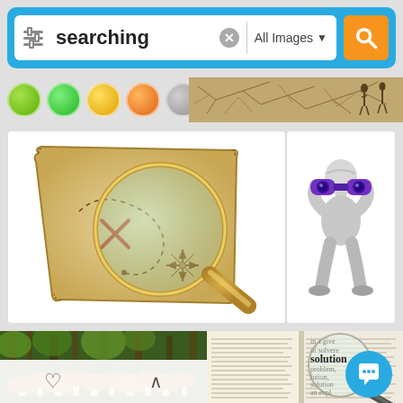[Figure (screenshot): Image search interface screenshot showing a search bar with the query 'searching', color filter circles (green, lime, yellow, orange, gray), and a grid of search result images including a treasure map with magnifying glass, a 3D figure with binoculars, mushrooms in a forest, and a dictionary page with magnifying glass. Blue chat bubble in lower right.]